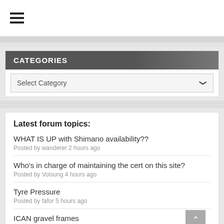≡ (hamburger menu icon)
CATEGORIES
Select Category
Latest forum topics:
WHAT IS UP with Shimano availability??
Posted by wanderer 2 hours ago
Who's in charge of maintaining the cert on this site?
Posted by Volsung 4 hours ago
Tyre Pressure
Posted by fafor 5 hours ago
ICAN gravel frames
Posted by Want_to_ride_my_bicycle 7 hours ago
Rose Mountain Rumble 2022